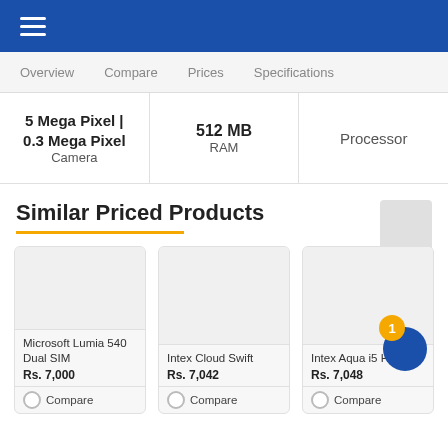≡ (hamburger menu)
Overview  Compare  Prices  Specifications
5 Mega Pixel | 0.3 Mega Pixel Camera
512 MB RAM
Processor
Similar Priced Products
Microsoft Lumia 540 Dual SIM
Rs. 7,000
Compare
Intex Cloud Swift
Rs. 7,042
Compare
Intex Aqua i5 HD
Rs. 7,048
Compare